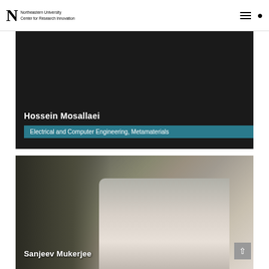Northeastern University Center for Research Innovation
Hossein Mosallaei
Electrical and Computer Engineering, Metamaterials
[Figure (photo): Photo of Sanjeev Mukerjee in a white lab coat standing in a laboratory with equipment and machinery in the background]
Sanjeev Mukerjee